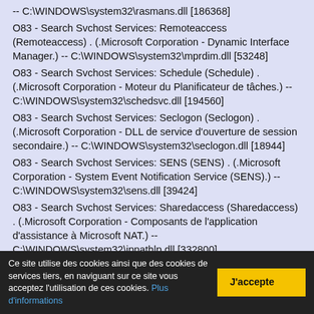-- C:\WINDOWS\system32\rasmans.dll [186368]
O83 - Search Svchost Services: Remoteaccess (Remoteaccess) . (.Microsoft Corporation - Dynamic Interface Manager.) -- C:\WINDOWS\system32\mprdim.dll [53248]
O83 - Search Svchost Services: Schedule (Schedule) . (.Microsoft Corporation - Moteur du Planificateur de tâches.) -- C:\WINDOWS\system32\schedsvc.dll [194560]
O83 - Search Svchost Services: Seclogon (Seclogon) . (.Microsoft Corporation - DLL de service d'ouverture de session secondaire.) -- C:\WINDOWS\system32\seclogon.dll [18944]
O83 - Search Svchost Services: SENS (SENS) . (.Microsoft Corporation - System Event Notification Service (SENS).) -- C:\WINDOWS\system32\sens.dll [39424]
O83 - Search Svchost Services: Sharedaccess (Sharedaccess) . (.Microsoft Corporation - Composants de l'application d'assistance à Microsoft NAT.) -- C:\WINDOWS\system32\ipnathlp.dll [332800]
O83 - Search Svchost Services: SRService (SRService) . (.Microsoft Corporation - Service de restauration du système.) -- C:\WINDOWS\system32\...dll [...]
Ce site utilise des cookies ainsi que des cookies de services tiers, en naviguant sur ce site vous acceptez l'utilisation de ces cookies. Plus d'informations
J'accepte